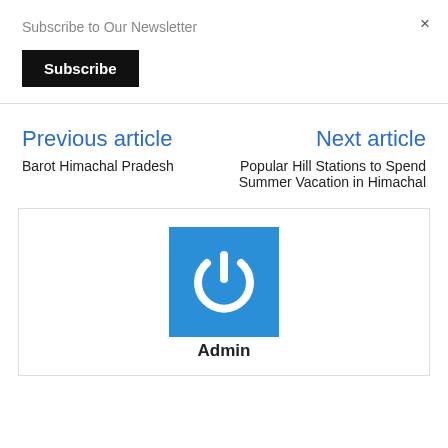Subscribe to Our Newsletter
×
Subscribe
Previous article
Barot Himachal Pradesh
Next article
Popular Hill Stations to Spend Summer Vacation in Himachal
[Figure (logo): Blue square icon with white power button symbol]
Admin